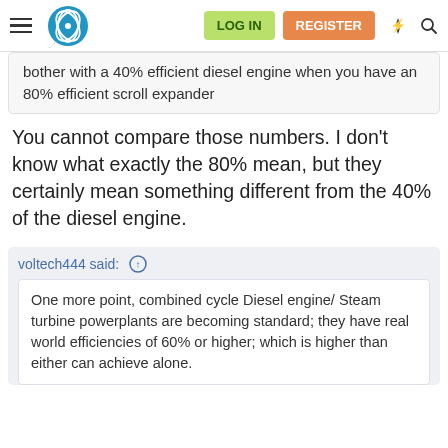LOG IN  REGISTER
bother with a 40% efficient diesel engine when you have an 80% efficient scroll expander
You cannot compare those numbers. I don't know what exactly the 80% mean, but they certainly mean something different from the 40% of the diesel engine.
voltech444 said:
One more point, combined cycle Diesel engine/ Steam turbine powerplants are becoming standard; they have real world efficiencies of 60% or higher; which is higher than either can achieve alone.